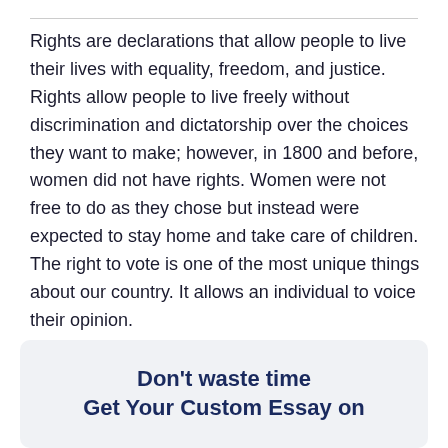Rights are declarations that allow people to live their lives with equality, freedom, and justice. Rights allow people to live freely without discrimination and dictatorship over the choices they want to make; however, in 1800 and before, women did not have rights. Women were not free to do as they chose but instead were expected to stay home and take care of children. The right to vote is one of the most unique things about our country. It allows an individual to voice their opinion.
Don't waste time
Get Your Custom Essay on